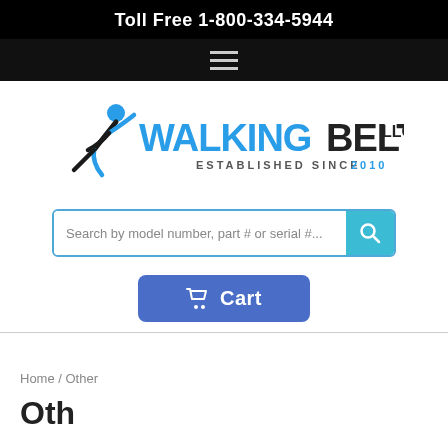Toll Free 1-800-334-5944
[Figure (logo): Walking Belts LLC logo with runner icon, blue and black text, ESTABLISHED SINCE 2010]
Search by model number, part # or serial #...
Cart
Home / Other
Oth